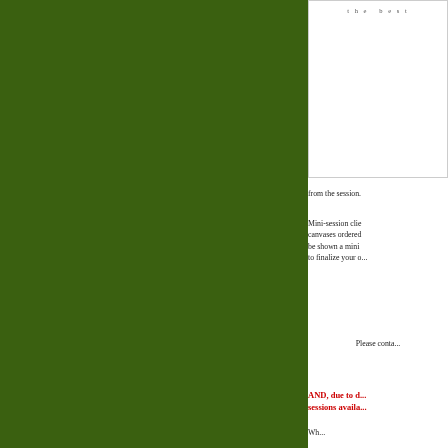[Figure (other): Large dark olive/forest green decorative panel on the left side of the page]
[Figure (other): Logo or header image area with small text reading 'the best' at top, white background with border]
from the session.
Mini-session clients will receive canvases ordered and will be shown a mini presentation to finalize your o...
Please conta...
AND, due to d... sessions availa...
Wh...